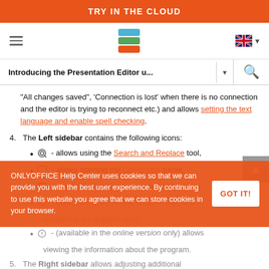TRY IN THE CLOUD
[Figure (screenshot): Navigation bar with hamburger menu, OnlyOffice stacked layers logo, and English language selector with flag and dropdown arrow]
Introducing the Presentation Editor u...
"All changes saved", 'Connection is lost' when there is no connection and the editor is trying to reconnect etc.) and allows setting the text language and enable spell checking.
4. The Left sidebar contains the following icons:
🔍 - allows using the Search and Replace tool,
💬 - allows opening the Comments panel,
🖥 - (available in the online version only) allows
- (available in the online version only) allows contacting our support team,
- (available in the online version only) allows viewing the information about the program.
5. The Right sidebar allows adjusting additional
ONLYOFFICE Help Center uses cookies so that we can provide you with the best user experience. By continuing to use this website you agree that we can store cookies in your browser.